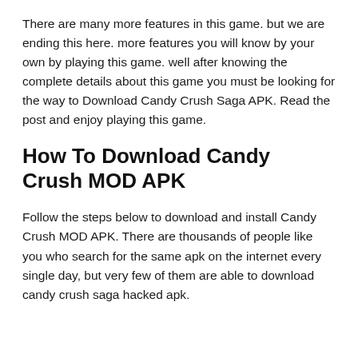There are many more features in this game. but we are ending this here. more features you will know by your own by playing this game. well after knowing the complete details about this game you must be looking for the way to Download Candy Crush Saga APK. Read the post and enjoy playing this game.
How To Download Candy Crush MOD APK
Follow the steps below to download and install Candy Crush MOD APK. There are thousands of people like you who search for the same apk on the internet every single day, but very few of them are able to download candy crush saga hacked apk.